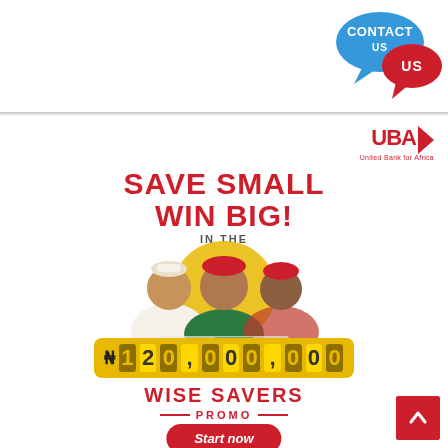[Figure (illustration): Contact Us speech bubbles — blue bubble with CONTACT text and red bubble with US text]
[Figure (logo): UBA logo — United Bank for Africa red text with arrow, and tagline 'United Bank for Africa']
SAVE SMALL WIN BIG!
IN THE
[Figure (photo): Three people celebrating with money on a table — a man in white agbada, a woman in green top, and a man in red cap and patterned shirt]
[Figure (infographic): Gold banner showing N 1,200,000,000 in large slot-machine style digit boxes]
WISE SAVERS
PROMO
Start now